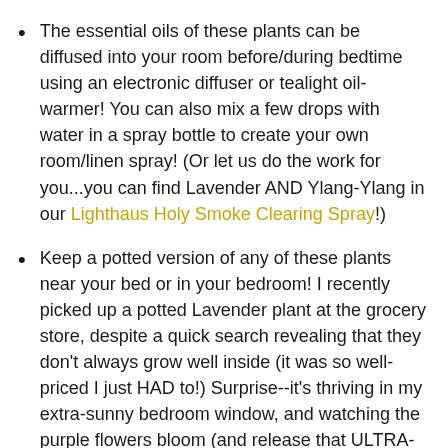The essential oils of these plants can be diffused into your room before/during bedtime using an electronic diffuser or tealight oil-warmer! You can also mix a few drops with water in a spray bottle to create your own room/linen spray! (Or let us do the work for you...you can find Lavender AND Ylang-Ylang in our Lighthaus Holy Smoke Clearing Spray!)
Keep a potted version of any of these plants near your bed or in your bedroom! I recently picked up a potted Lavender plant at the grocery store, despite a quick search revealing that they don't always grow well inside (it was so well-priced I just HAD to!) Surprise--it's thriving in my extra-sunny bedroom window, and watching the purple flowers bloom (and release that ULTRA-relaxing scent) is a dream all its own!
Mix any of these dried plants into a spell sachet for sleep and keep it under your pillow!
Brew a before-bed tea (ahem, potion) with your chosen plants. Make sure to check that they're safe to